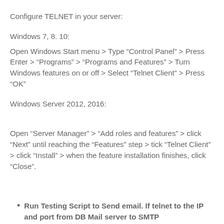Configure TELNET in your server:
Windows 7, 8. 10:
Open Windows Start menu > Type "Control Panel" > Press Enter > "Programs" > "Programs and Features" > Turn Windows features on or off > Select "Telnet Client" > Press "OK"
Windows Server 2012, 2016:
Open “Server Manager” > “Add roles and features” > click “Next” until reaching the “Features” step > tick “Telnet Client” > click “Install” > when the feature installation finishes, click “Close”.
Run Testing Script to Send email. If telnet to the IP and port from DB Mail server to SMTP